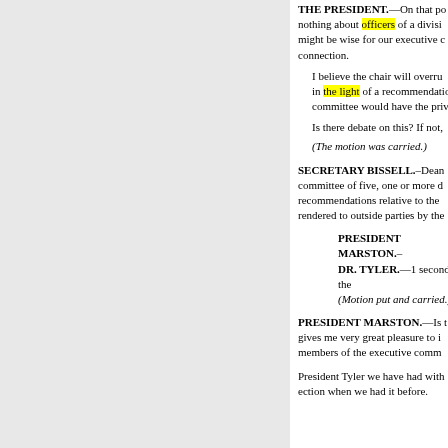THE PRESIDENT.—On that po nothing about officers of a divisi might be wise for our executive connection.
I believe the chair will overru in the light of a recommendation committee would have the privil
Is there debate on this? If not,
(The motion was carried.)
SECRETARY BISSELL.–Dean committee of five, one or more d recommendations relative to the rendered to outside parties by the
PRESIDENT MARSTON.– DR. TYLER.—1 second the (Motion put and carried.)
PRESIDENT MARSTON.—Is t gives me very great pleasure to i members of the executive comm
President Tyler we have had with ection when we had it before.